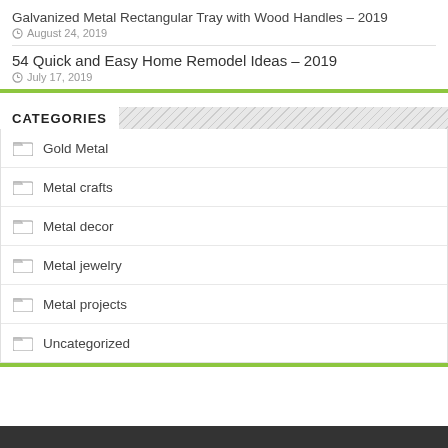Galvanized Metal Rectangular Tray with Wood Handles – 2019
August 24, 2019
54 Quick and Easy Home Remodel Ideas – 2019
July 17, 2019
CATEGORIES
Gold Metal
Metal crafts
Metal decor
Metal jewelry
Metal projects
Uncategorized